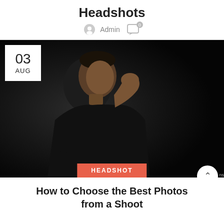Headshots
Admin
[Figure (photo): Portrait of a young man in a black t-shirt against a dark background, with hand raised near his face. Has a white date badge overlay showing '03 AUG' and a coral/red 'HEADSHOT' category label at the bottom center.]
How to Choose the Best Photos from a Shoot